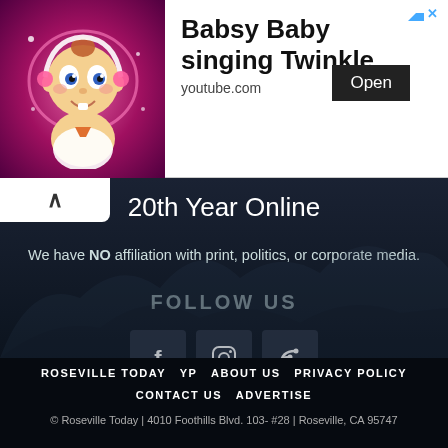[Figure (screenshot): Advertisement banner showing animated baby character on pink background with text 'Babsy Baby singing Twinkle', youtube.com URL, and Open button]
20th Year Online
We have NO affiliation with print, politics, or corporate media.
FOLLOW US
[Figure (illustration): Three social media icon boxes: Facebook (f), Instagram (circle/camera), RSS feed icons on dark rounded-square backgrounds]
ROSEVILLE TODAY   YP   ABOUT US   PRIVACY POLICY   CONTACT US   ADVERTISE
© Roseville Today | 4010 Foothills Blvd. 103- #28 | Roseville, CA 95747